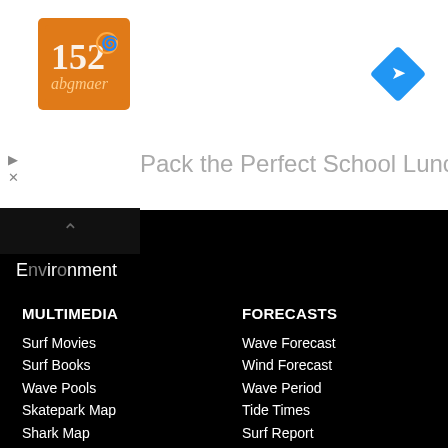[Figure (logo): Orange square logo with decorative text design]
Pack the Perfect School Lunch
Environment
MULTIMEDIA
FORECASTS
Surf Movies
Surf Books
Wave Pools
Skatepark Map
Shark Map
Surf Spots
Surf Videos
Wave Forecast
Wind Forecast
Wave Period
Tide Times
Surf Report